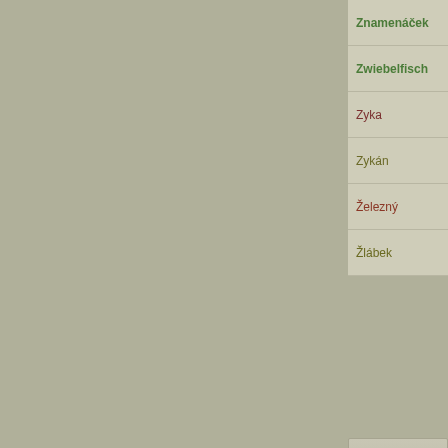Znamenáček
Zwiebelfisch
Zyka
Zykán
Železný
Žlábek
| Name |
| --- |
| Abyssinia |
| Adige |
| Africa |
| Alexandria |
| Alps |
| America |
Abyssinia
Adige
Africa
Alexandria
Alps
America